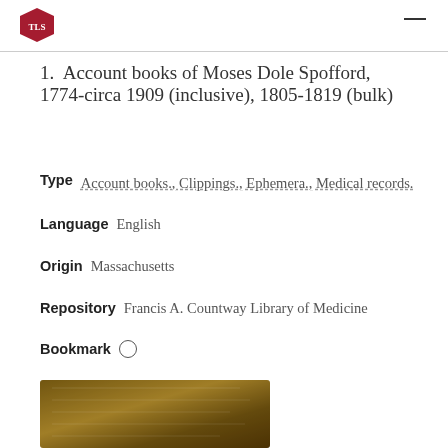Harvard logo and navigation
1.  Account books of Moses Dole Spofford, 1774-circa 1909 (inclusive), 1805-1819 (bulk)
Type   Account books., Clippings., Ephemera., Medical records.
Language   English
Origin   Massachusetts
Repository   Francis A. Countway Library of Medicine
Bookmark  ○
[Figure (photo): Partial view of an old brown leather-bound account book at the bottom of the page]